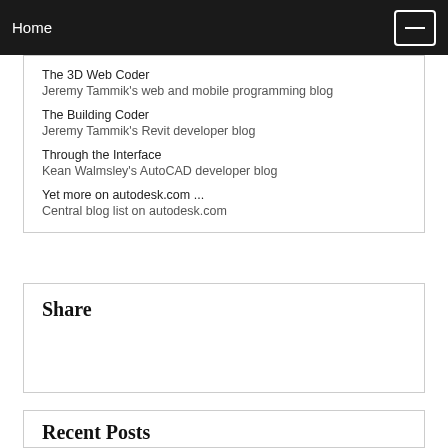Home
The 3D Web Coder
Jeremy Tammik's web and mobile programming blog
The Building Coder
Jeremy Tammik's Revit developer blog
Through the Interface
Kean Walmsley's AutoCAD developer blog
Yet more on autodesk.com ...
Central blog list on autodesk.com
Share
Recent Posts